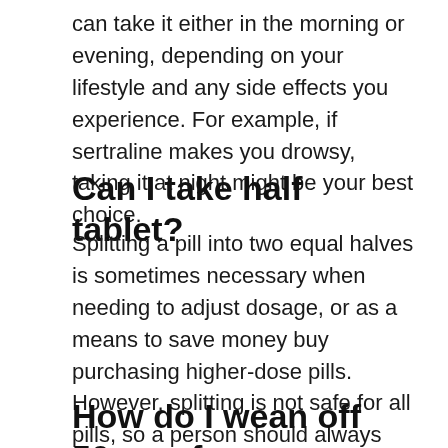can take it either in the morning or evening, depending on your lifestyle and any side effects you experience. For example, if sertraline makes you drowsy, taking it at night might be your best choice.
Can I take half tablet?
Splitting a pill into two equal halves is sometimes necessary when needing to adjust dosage, or as a means to save money buy purchasing higher-dose pills. However, splitting is not safe for all pills, so a person should always consult a pharmacist or doctor.
How do I wean off 50mg of sertraline?